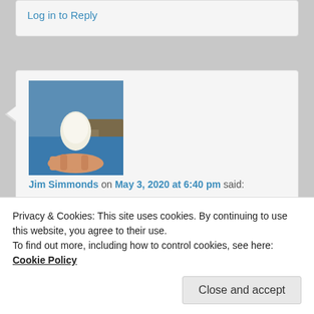Log in to Reply
Jim Simmonds on May 3, 2020 at 6:40 pm said:
[Figure (photo): Avatar photo showing a white egg balanced on a hand against a blue water background]
I think you will, it really does have a timeless quality and for me is full of really accessible wisdom. X
★ Liked by 2 people
Privacy & Cookies: This site uses cookies. By continuing to use this website, you agree to their use.
To find out more, including how to control cookies, see here: Cookie Policy
Close and accept